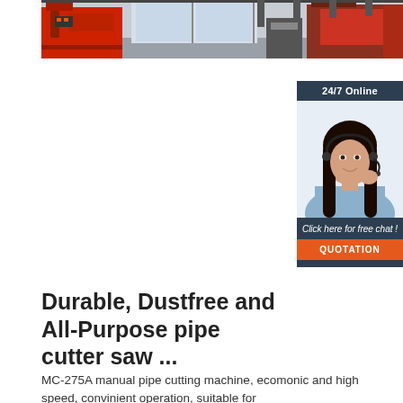[Figure (photo): Factory/industrial interior showing red machinery and equipment in a large facility with windows]
[Figure (infographic): 24/7 Online support widget showing a woman with headset, text 'Click here for free chat!' and orange QUOTATION button]
Durable, Dustfree and All-Purpose pipe cutter saw ...
MC-275A manual pipe cutting machine, ecomonic and high speed, convinient operation, suitable for